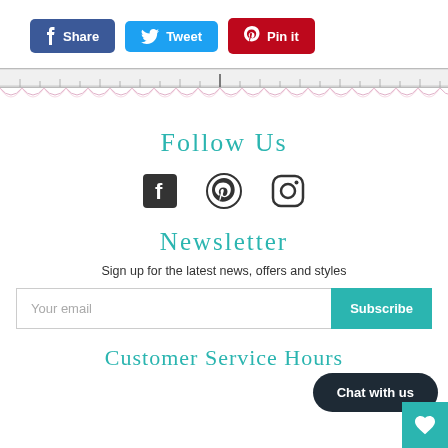[Figure (infographic): Share buttons: Facebook Share (blue), Twitter Tweet (blue), Pinterest Pin it (red)]
[Figure (photo): Decorative divider image with ruler/lace pattern]
Follow Us
[Figure (infographic): Social media icons: Facebook, Pinterest, Instagram]
Newsletter
Sign up for the latest news, offers and styles
[Figure (infographic): Email input field with placeholder 'Your email' and Subscribe button]
Customer Service Hours
[Figure (infographic): Chat with us bubble button and teal heart button]